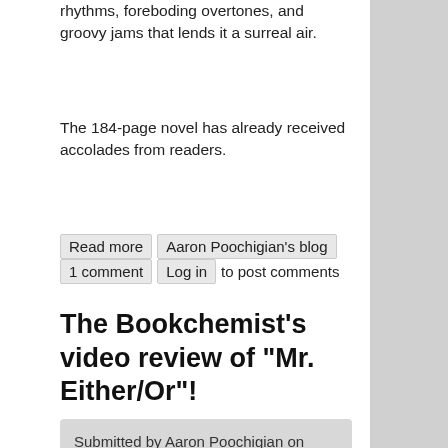rhythms, foreboding overtones, and groovy jams that lends it a surreal air.
The 184-page novel has already received accolades from readers.
Read more  Aaron Poochigian's blog  1 comment  Log in  to post comments
The Bookchemist's video review of "Mr. Either/Or"!
Submitted by Aaron Poochigian on Thu, 09/28/2017 - 7:31pm
Thank you, O mysterious Bookchemist, for your review: https://www.youtube.com/watch?v=mRt5k-SXfgI&feature=youtu.be&a